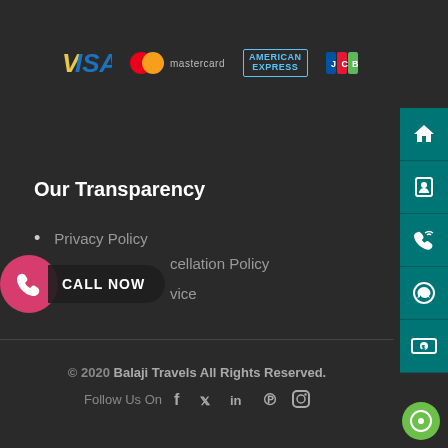[Figure (logo): Payment method logos: VISA, Mastercard, American Express, JCB]
Our Transparency
Privacy Policy
Cancellation Policy
Service
[Figure (other): Call Now button with pink phone icon circle and dark label]
[Figure (other): Right sidebar with teal background: home, user, phone, whatsapp, money icons]
© 2020 Balaji Travels All Rights Reserved.
Follow Us On  f  y  in  P  Instagram
[Figure (other): Green chat bubble icon bottom right]